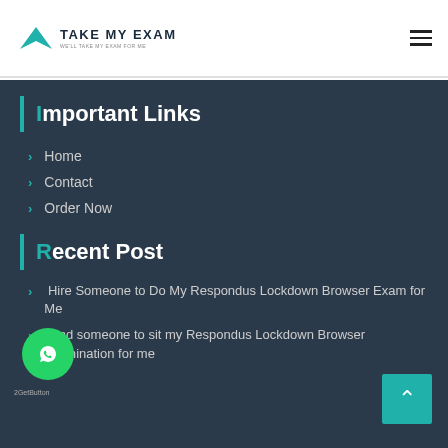Take My Exam
Important Links
Home
Contact
Order Now
Recent Post
Hire Someone to Do My Respondus Lockdown Browser Exam for Me
Find someone to sit my Respondus Lockdown Browser examination for me